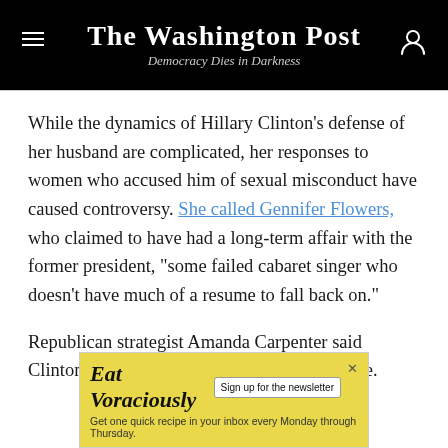The Washington Post — Democracy Dies in Darkness
While the dynamics of Hillary Clinton's defense of her husband are complicated, her responses to women who accused him of sexual misconduct have caused controversy. She called Gennifer Flowers, who claimed to have had a long-term affair with the former president, "some failed cabaret singer who doesn't have much of a resume to fall back on."
Republican strategist Amanda Carpenter said Clinton's treatment of women cost her the race.
[Figure (other): Eat Voraciously advertisement banner with yellow background. Text: 'Eat Voraciously' with 'Sign up for the newsletter' button and 'Get one quick recipe in your inbox every Monday through Thursday.']